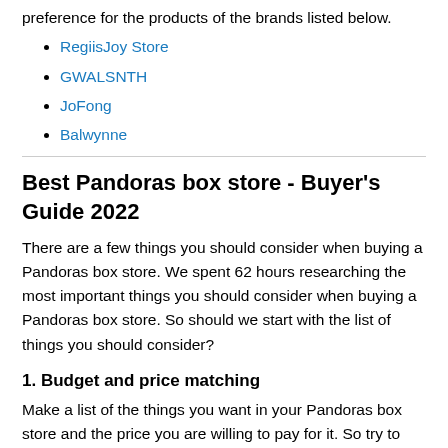preference for the products of the brands listed below.
RegiisJoy Store
GWALSNTH
JoFong
Balwynne
Best Pandoras box store - Buyer's Guide 2022
There are a few things you should consider when buying a Pandoras box store. We spent 62 hours researching the most important things you should consider when buying a Pandoras box store. So should we start with the list of things you should consider?
1. Budget and price matching
Make a list of the things you want in your Pandoras box store and the price you are willing to pay for it. So try to look for a product in that price range and choose the one